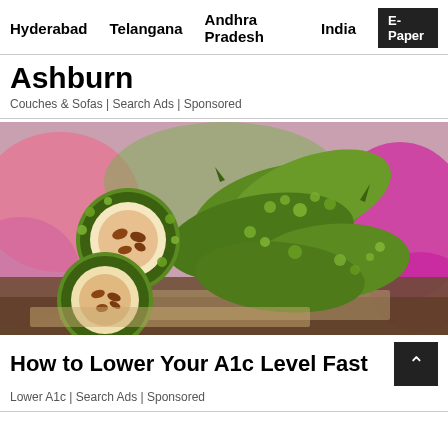Hyderabad   Telangana   Andhra Pradesh   India   E-Paper
Ashburn
Couches & Sofas | Search Ads | Sponsored
[Figure (photo): Bitter melon (karela) vegetables piled on burlap with colorful blurred background. Two halved bitter melons in front showing red seeds inside.]
How to Lower Your A1c Level Fast
Lower A1c | Search Ads | Sponsored